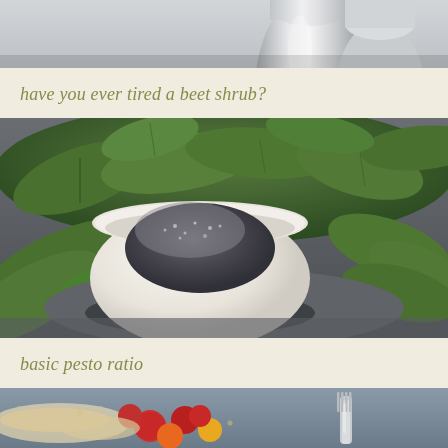[Figure (photo): Top portion of a food photo showing what appears to be a metallic shaker or jar, cropped at the top of the page]
have you ever tired a beet shrub?
[Figure (photo): A white ceramic bowl filled with dark grey-black pesto or paste, surrounded by fresh green basil leaves on a grey surface]
basic pesto ratio
[Figure (photo): Bottom portion of a food photo showing a blue-grey plate with pasta, roasted cherry tomatoes in red, orange, and yellow colors, with a silver fork visible on the right side]